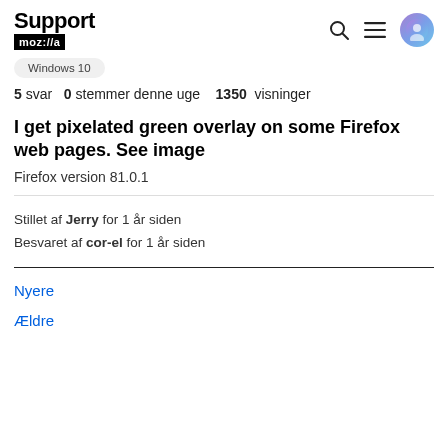Support moz://a
Windows 10
5 svar  0 stemmer denne uge  1350 visninger
I get pixelated green overlay on some Firefox web pages. See image
Firefox version 81.0.1
Stillet af Jerry for 1 år siden
Besvaret af cor-el for 1 år siden
Nyere
Ældre